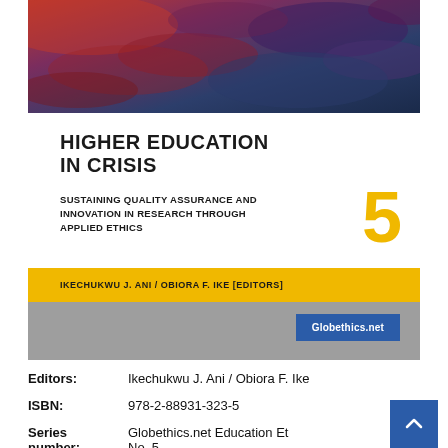[Figure (photo): Book cover image showing a dramatic sky with red and blue clouds at top, white area with title text, yellow bar with editors, and gray bar with Globethics.net logo]
Editors: Ikechukwu J. Ani / Obiora F. Ike
ISBN: 978-2-88931-323-5
Series number: Globethics.net Education Ethics No. 5